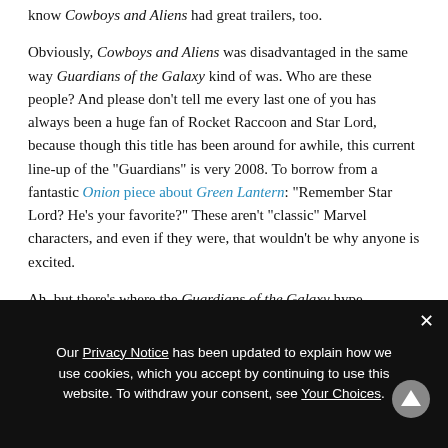know Cowboys and Aliens had great trailers, too.
Obviously, Cowboys and Aliens was disadvantaged in the same way Guardians of the Galaxy kind of was. Who are these people? And please don't tell me every last one of you has always been a huge fan of Rocket Raccoon and Star Lord, because though this title has been around for awhile, this current line-up of the "Guardians" is very 2008. To borrow from a fantastic Onion piece about Green Lantern: "Remember Star Lord? He's your favorite?" These aren't "classic" Marvel characters, and even if they were, that wouldn't be why anyone is excited.
Ah, but there's where the Guardians of the Galaxy hype
Our Privacy Notice has been updated to explain how we use cookies, which you accept by continuing to use this website. To withdraw your consent, see Your Choices.